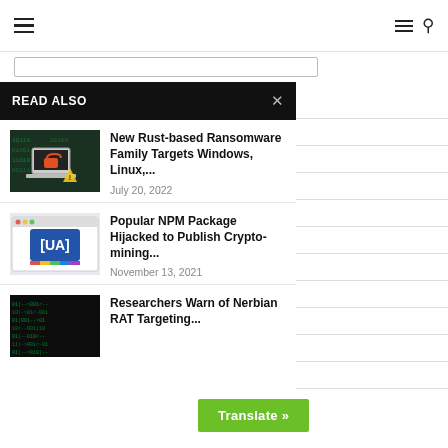≡  ≡ 🔍
New Rust-based Ransomware Family Targets Windows, Linux,...
July 20, 2022
Popular NPM Package Hijacked to Publish Crypto-mining...
November 13, 2021
Researchers Warn of Nerbian RAT Targeting...
Translate »